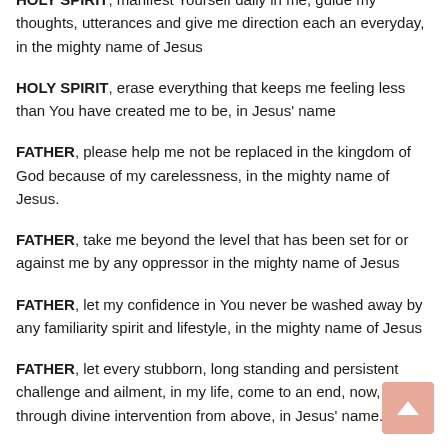HOLY SPIRIT, manifest Yourself daily in me; guide my thoughts, utterances and give me direction each an everyday, in the mighty name of Jesus
HOLY SPIRIT, erase everything that keeps me feeling less than You have created me to be, in Jesus’ name
FATHER, please help me not be replaced in the kingdom of God because of my carelessness, in the mighty name of Jesus.
FATHER, take me beyond the level that has been set for or against me by any oppressor in the mighty name of Jesus
FATHER, let my confidence in You never be washed away by any familiarity spirit and lifestyle, in the mighty name of Jesus
FATHER, let every stubborn, long standing and persistent challenge and ailment, in my life, come to an end, now, through divine intervention from above, in Jesus’ name.
FATHER, give me the grace not to quit or give up on myself;